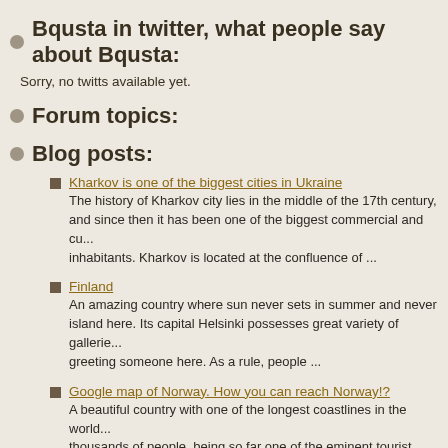Bqusta in twitter, what people say about Bqusta:
Sorry, no twitts available yet.
Forum topics:
Blog posts:
Kharkov is one of the biggest cities in Ukraine — The history of Kharkov city lies in the middle of the 17th century, and since then it has been one of the biggest commercial and cu... inhabitants. Kharkov is located at the confluence of ...
Finland — An amazing country where sun never sets in summer and never island here. Its capital Helsinki possesses great variety of gallerie... greeting someone here. As a rule, people ...
Google map of Norway. How you can reach Norway!? — A beautiful country with one of the longest coastlines in the world... thousands of people, being so far one of the eminent tourist spots... spectacular: over a half of its territory is covered ...
France — France – is the country that gave birth to so many beautiful works... and of course it would have been a great sin not to mention perfu... such as Napoleon and Edith Piaf, three ...
Maldives — Male is the capital of the Maldives islands, but also it is a comme...